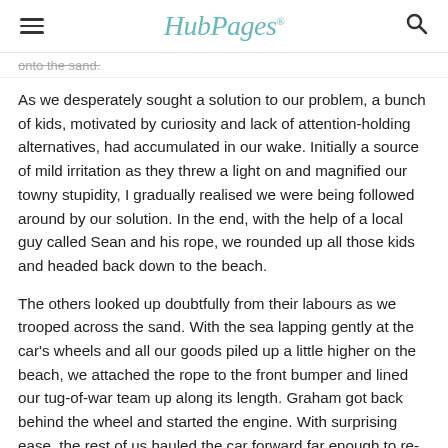HubPages
onto the sand.
As we desperately sought a solution to our problem, a bunch of kids, motivated by curiosity and lack of attention-holding alternatives, had accumulated in our wake. Initially a source of mild irritation as they threw a light on and magnified our towny stupidity, I gradually realised we were being followed around by our solution. In the end, with the help of a local guy called Sean and his rope, we rounded up all those kids and headed back down to the beach.
The others looked up doubtfully from their labours as we trooped across the sand. With the sea lapping gently at the car's wheels and all our goods piled up a little higher on the beach, we attached the rope to the front bumper and lined our tug-of-war team up along its length. Graham got back behind the wheel and started the engine. With surprising ease, the rest of us hauled the car forward far enough to re-establish itself on firm sand. We untied the rope and